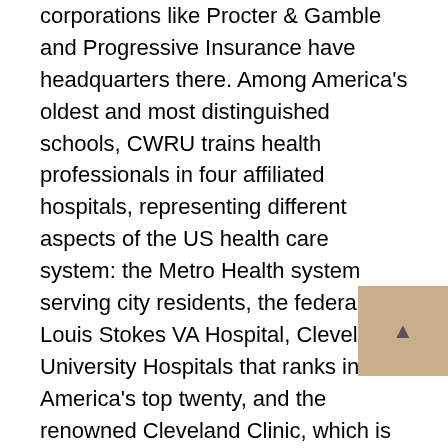corporations like Procter & Gamble and Progressive Insurance have headquarters there. Among America's oldest and most distinguished schools, CWRU trains health professionals in four affiliated hospitals, representing different aspects of the US health care system: the Metro Health system serving city residents, the federal Louis Stokes VA Hospital, Cleveland University Hospitals that ranks in America's top twenty, and the renowned Cleveland Clinic, which is ranked #2 nationwide.
Like TMU, CWRU stands out from most